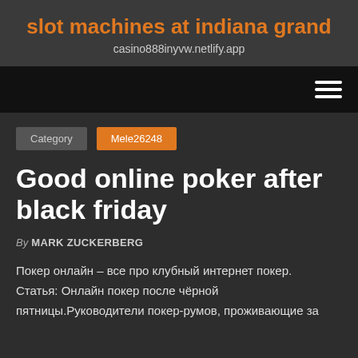slot machines at indiana grand
casino888inyvw.netlify.app
Category   Mele26248
Good online poker after black friday
By MARK ZUCKERBERG
Покер онлайн – все про клубный интернет покер. Статья: Онлайн покер после чёрной пятницы.Руководители покер-румов, проживающие за